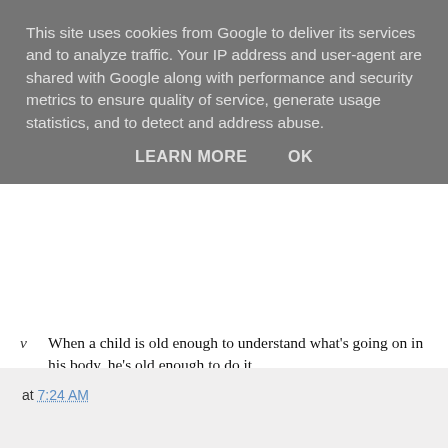This site uses cookies from Google to deliver its services and to analyze traffic. Your IP address and user-agent are shared with Google along with performance and security metrics to ensure quality of service, generate usage statistics, and to detect and address abuse.
LEARN MORE    OK
When a child is old enough to understand what's going on in his body, he's old enough to do it.
To avoid getting caught in the "big girl" trap, reserve these terms for a phase your child is going through when he or she wants to be big. Some children are ambivalent about becoming "big" because they see little ones get more attention.
In training twins, don't compare their progress. Train the more ready and willing twin first as a role model. Splurge on two potty-chair
at 7:24 AM